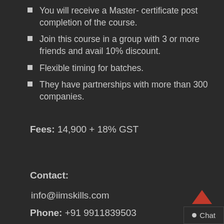You will receive a Master- certificate post completion of the course.
Join this course in a group with 3 or more friends and avail 10% discount.
Flexible timing for batches.
They have partnerships with more than 300 companies.
Fees: 14,900 + 18% GST
Contact:
info@iimskills.com
Phone: +91 9911839503